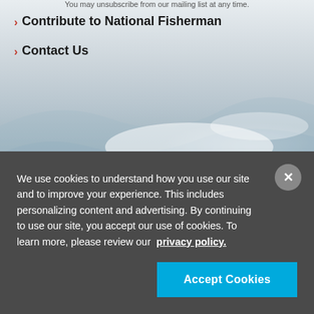› Contribute to National Fisherman
› Contact Us
[Figure (photo): Ocean wave background photo in grayscale/blue tones]
Email Address
E-News Subscribe
You may unsubscribe from our mailing list at any time.
We use cookies to understand how you use our site and to improve your experience. This includes personalizing content and advertising. By continuing to use our site, you accept our use of cookies. To learn more, please review our privacy policy.
Accept Cookies